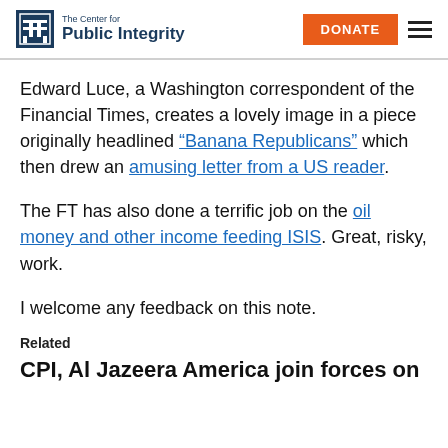The Center for Public Integrity | DONATE
Edward Luce, a Washington correspondent of the Financial Times, creates a lovely image in a piece originally headlined “Banana Republicans” which then drew an amusing letter from a US reader.
The FT has also done a terrific job on the oil money and other income feeding ISIS. Great, risky, work.
I welcome any feedback on this note.
Related
CPI, Al Jazeera America join forces on